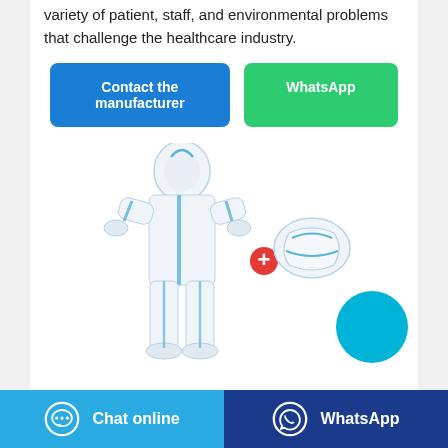variety of patient, staff, and environmental problems that challenge the healthcare industry.
Contact the manufacturer
WhatsApp
[Figure (photo): White protective coverall suit with blue trim/seams shown on a mannequin figure, plus a separate shoe cover accessory, with a red plus sign between them indicating they are sold together.]
Chat online | WhatsApp